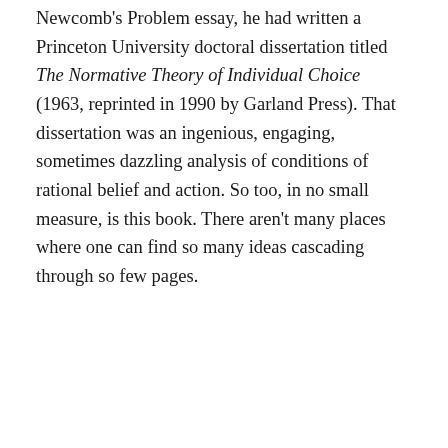Newcomb's Problem essay, he had written a Princeton University doctoral dissertation titled The Normative Theory of Individual Choice (1963, reprinted in 1990 by Garland Press). That dissertation was an ingenious, engaging, sometimes dazzling analysis of conditions of rational belief and action. So too, in no small measure, is this book. There aren't many places where one can find so many ideas cascading through so few pages.